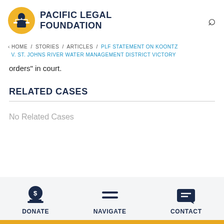PACIFIC LEGAL FOUNDATION
< HOME / STORIES / ARTICLES / PLF STATEMENT ON KOONTZ V. ST. JOHNS RIVER WATER MANAGEMENT DISTRICT VICTORY
orders" in court.
RELATED CASES
No Related Cases
DONATE  NAVIGATE  CONTACT